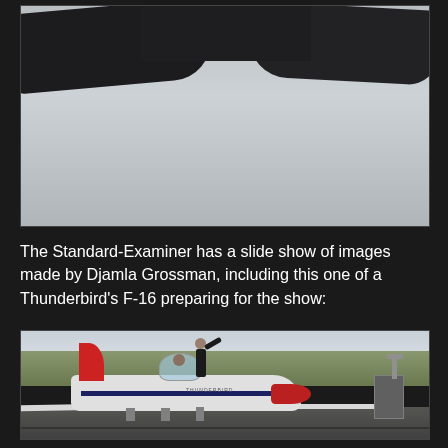[Figure (photo): Partial view of aircraft from below, showing dark fuselage/wings against grey sky background. Top portion of image cropped.]
The Standard-Examiner has a slide show of images made by Djamla Grossman, including this one of a Thunderbird's F-16 preparing for the show:
[Figure (photo): A Thunderbird's F-16 jet fighter on a runway with canopy open. A person in dark clothing stands in the cockpit area waving, while a pilot sits in the seat. Ground support equipment visible on the right.]